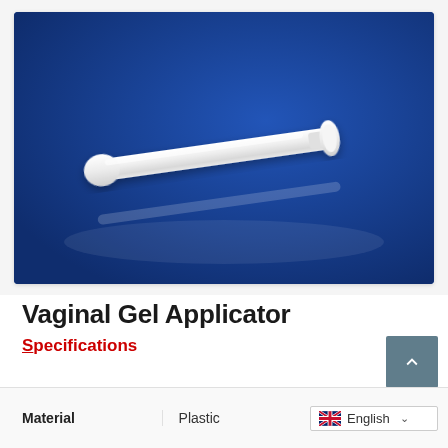[Figure (photo): A white plastic vaginal gel applicator (syringe-like device with a rounded tip on one end and a flat plunger disk on the other) photographed on a blue background.]
Vaginal Gel Applicator
Specifications
| Material | Plastic |
| --- | --- |